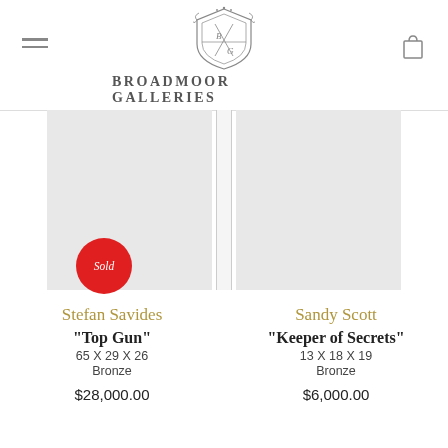Broadmoor Galleries
[Figure (other): Gallery product listing screenshot showing two bronze sculptures. Left: Stefan Savides 'Top Gun' 65x29x26 Bronze $28,000.00 with Sold badge. Right: Sandy Scott 'Keeper of Secrets' 13x18x19 Bronze $6,000.00.]